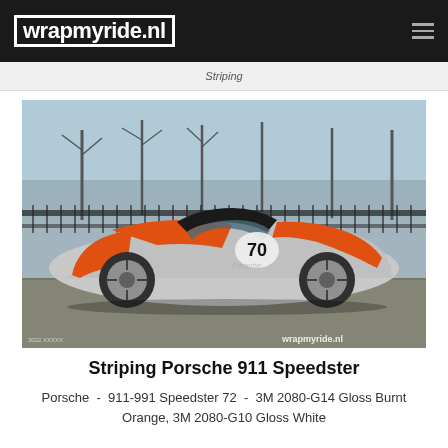wrapmyride.nl
Striping
[Figure (photo): Orange and silver Porsche 911 Speedster with racing number 70 and orange stripe wrap, parked on brick pavement in front of a black iron fence with trees. Wrapmyride.nl watermark in bottom right corner.]
Striping Porsche 911 Speedster
Porsche  -  911-991 Speedster 72  -  3M 2080-G14 Gloss Burnt Orange, 3M 2080-G10 Gloss White